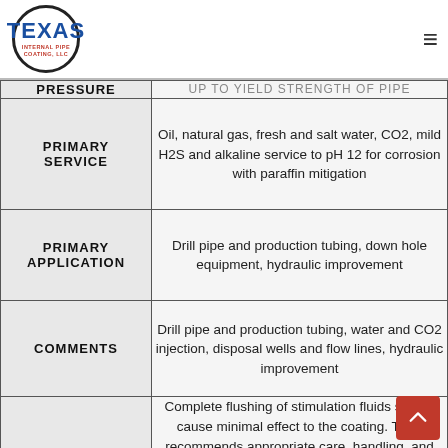Texas Internal Pipe Coating, LLC
| Category | Detail |
| --- | --- |
| PRESSURE | UP TO YIELD STRENGTH OF PIPE |
| PRIMARY SERVICE | Oil, natural gas, fresh and salt water, CO2, mild H2S and alkaline service to pH 12 for corrosion with paraffin mitigation |
| PRIMARY APPLICATION | Drill pipe and production tubing, down hole equipment, hydraulic improvement |
| COMMENTS | Drill pipe and production tubing, water and CO2 injection, disposal wells and flow lines, hydraulic improvement |
| NOTES | Complete flushing of stimulation fluids should cause minimal effect to the coating. TIPC recommends appropriate care, handling, and installation on all internally coated material Flexible corrosive water... |